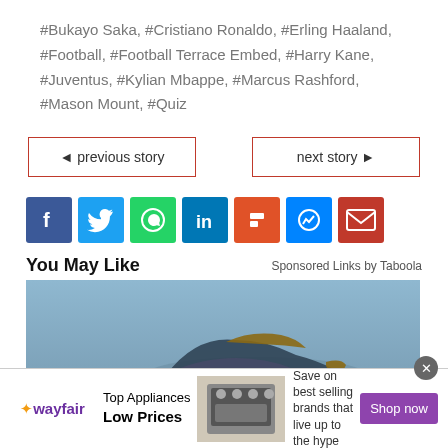#Bukayo Saka, #Cristiano Ronaldo, #Erling Haaland, #Football, #Football Terrace Embed, #Harry Kane, #Juventus, #Kylian Mbappe, #Marcus Rashford, #Mason Mount, #Quiz
◄ previous story
next story ►
[Figure (infographic): Social sharing icons: Facebook, Twitter, WhatsApp, LinkedIn, Flipboard, Messenger, Email]
You May Like
Sponsored Links by Taboola
[Figure (photo): Advertisement image showing sneakers/shoes on a gray background]
[Figure (infographic): Wayfair advertisement banner: Top Appliances Low Prices, Save on best selling brands that live up to the hype, Shop now button]